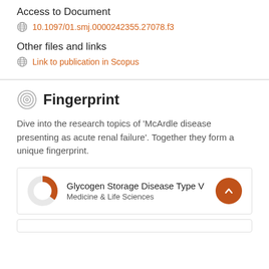Access to Document
10.1097/01.smj.0000242355.27078.f3
Other files and links
Link to publication in Scopus
Fingerprint
Dive into the research topics of 'McArdle disease presenting as acute renal failure'. Together they form a unique fingerprint.
Glycogen Storage Disease Type V
Medicine & Life Sciences